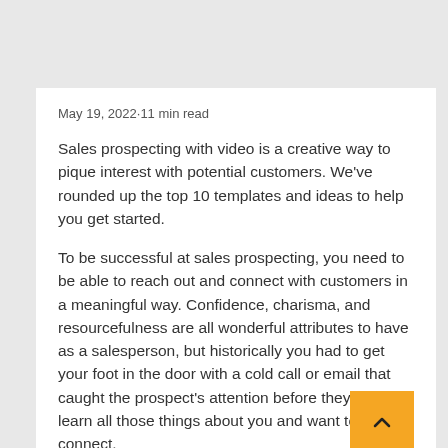May 19, 2022·11 min read
Sales prospecting with video is a creative way to pique interest with potential customers. We've rounded up the top 10 templates and ideas to help you get started.
To be successful at sales prospecting, you need to be able to reach out and connect with customers in a meaningful way. Confidence, charisma, and resourcefulness are all wonderful attributes to have as a salesperson, but historically you had to get your foot in the door with a cold call or email that caught the prospect's attention before they could learn all those things about you and want to connect.
Now that we're living in a virtual selling world and we have